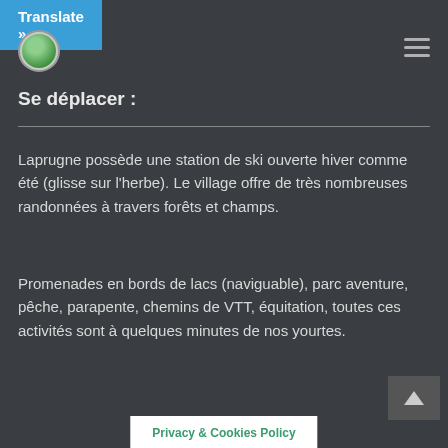Translate »
Se déplacer :
Laprugne possède une station de ski ouverte hiver comme été (glisse sur l'herbe). Le village offre de très nombreuses randonnées à travers forêts et champs.
Promenades en bords de lacs (naviguable), parc aventure, pêche, parapente, chemins de VTT, équitation, toutes ces activités sont à quelques minutes de nos yourtes.
Privacy & Cookies Policy